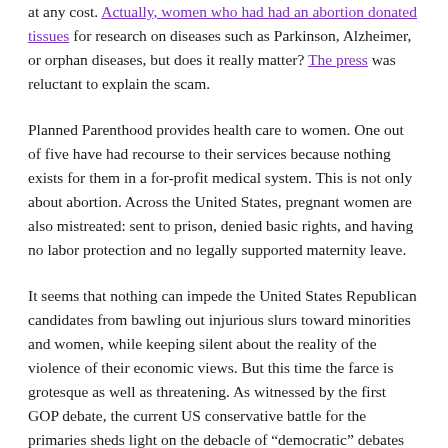at any cost. Actually, women who had had an abortion donated tissues for research on diseases such as Parkinson, Alzheimer, or orphan diseases, but does it really matter? The press was reluctant to explain the scam.
Planned Parenthood provides health care to women. One out of five have had recourse to their services because nothing exists for them in a for-profit medical system. This is not only about abortion. Across the United States, pregnant women are also mistreated: sent to prison, denied basic rights, and having no labor protection and no legally supported maternity leave.
It seems that nothing can impede the United States Republican candidates from bawling out injurious slurs toward minorities and women, while keeping silent about the reality of the violence of their economic views. But this time the farce is grotesque as well as threatening. As witnessed by the first GOP debate, the current US conservative battle for the primaries sheds light on the debacle of “democratic” debates in the cradle of neoliberal conservatism.